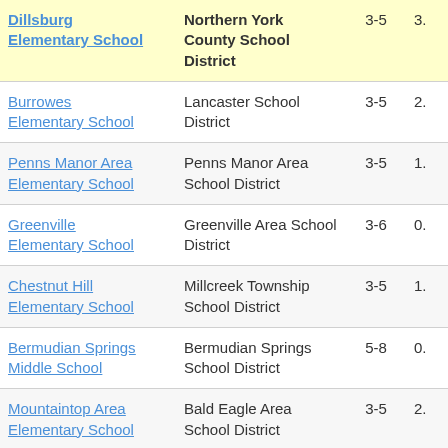| School | District | Grades | Score |
| --- | --- | --- | --- |
| Dillsburg Elementary School | Northern York County School District | 3-5 | 3. |
| Burrowes Elementary School | Lancaster School District | 3-5 | 2. |
| Penns Manor Area Elementary School | Penns Manor Area School District | 3-5 | 1. |
| Greenville Elementary School | Greenville Area School District | 3-6 | 0. |
| Chestnut Hill Elementary School | Millcreek Township School District | 3-5 | 1. |
| Bermudian Springs Middle School | Bermudian Springs School District | 5-8 | 0. |
| Mountaintop Area Elementary School | Bald Eagle Area School District | 3-5 | 2. |
| (partial) | Abington School... |  |  |